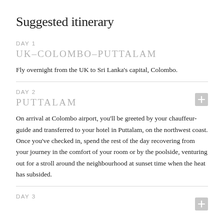Suggested itinerary
DAY 1
UK–COLOMBO–PUTTALAM
Fly overnight from the UK to Sri Lanka's capital, Colombo.
DAY 2
PUTTALAM
On arrival at Colombo airport, you'll be greeted by your chauffeur-guide and transferred to your hotel in Puttalam, on the northwest coast. Once you've checked in, spend the rest of the day recovering from your journey in the comfort of your room or by the poolside, venturing out for a stroll around the neighbourhood at sunset time when the heat has subsided.
DAY 3